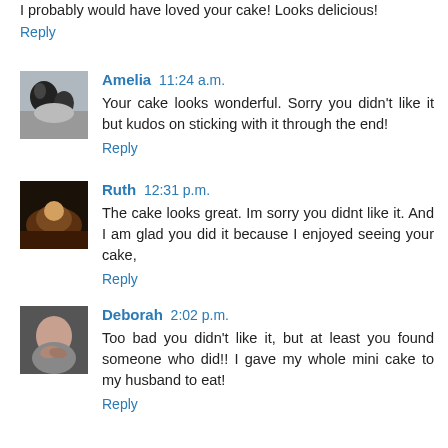I probably would have loved your cake! Looks delicious!
Reply
Amelia 11:24 a.m.
Your cake looks wonderful. Sorry you didn't like it but kudos on sticking with it through the end!
Reply
Ruth 12:31 p.m.
The cake looks great. Im sorry you didnt like it. And I am glad you did it because I enjoyed seeing your cake,
Reply
Deborah 2:02 p.m.
Too bad you didn't like it, but at least you found someone who did!! I gave my whole mini cake to my husband to eat!
Reply